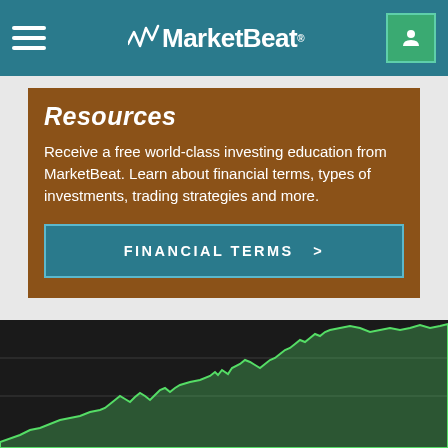MarketBeat
Resources
Receive a free world-class investing education from MarketBeat. Learn about financial terms, types of investments, trading strategies and more.
FINANCIAL TERMS >
[Figure (continuous-plot): Stock market area chart with green line and shaded area on dark background, showing upward trend over time.]